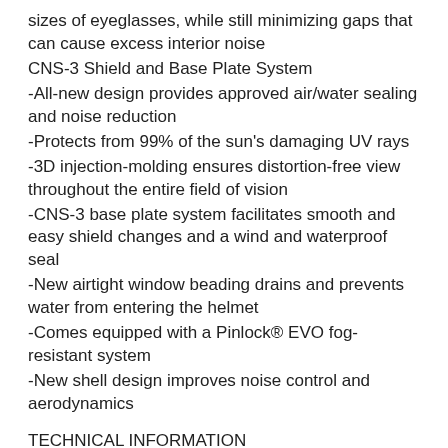sizes of eyeglasses, while still minimizing gaps that can cause excess interior noise
CNS-3 Shield and Base Plate System
-All-new design provides approved air/water sealing and noise reduction
-Protects from 99% of the sun's damaging UV rays
-3D injection-molding ensures distortion-free view throughout the entire field of vision
-CNS-3 base plate system facilitates smooth and easy shield changes and a wind and waterproof seal
-New airtight window beading drains and prevents water from entering the helmet
-Comes equipped with a Pinlock® EVO fog-resistant system
-New shell design improves noise control and aerodynamics
TECHNICAL INFORMATION
-Standards: DOT-218
-Construction: AIM (Advanced Integrated Matrix) materials
-Weight: 3.92 lbs / 1780 grams (approx. for Size Medium Solid